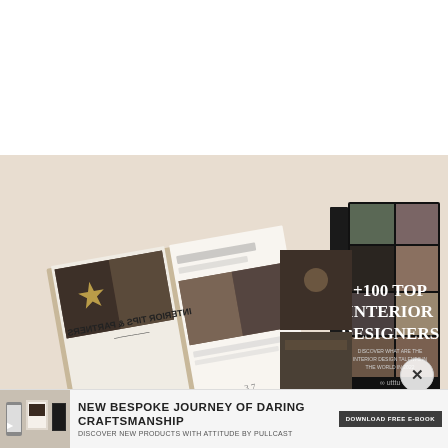[Figure (illustration): Advertisement showing two book/magazine mockups on a beige background. Left: open magazine showing interior design spread. Right: hardcover book titled '+100 TOP INTERIOR DESIGNERS' with a collage of luxury interior photos on the cover.]
[Figure (illustration): Bottom banner advertisement. Left: small thumbnail image of design books/tablets. Center: headline 'NEW BESPOKE JOURNEY OF DARING CRAFTSMANSHIP' with subtext 'DISCOVER NEW PRODUCTS WITH ATTITUDE BY PULLCAST'. Right: dark button reading 'DOWNLOAD FREE E-BOOK'.]